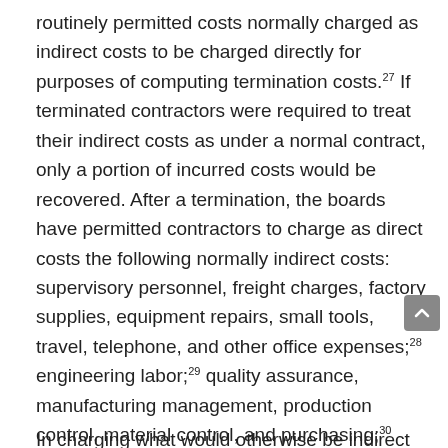routinely permitted costs normally charged as indirect costs to be charged directly for purposes of computing termination costs.[27] If terminated contractors were required to treat their indirect costs as under a normal contract, only a portion of incurred costs would be recovered. After a termination, the boards have permitted contractors to charge as direct costs the following normally indirect costs: supervisory personnel, freight charges, factory supplies, equipment repairs, small tools, travel, telephone, and other office expenses;[28] engineering labor;[29] quality assurance, manufacturing management, production control, material control, and purchasing;[30] and office labor of the company president.[31]
In charging what would otherwise be indirect...